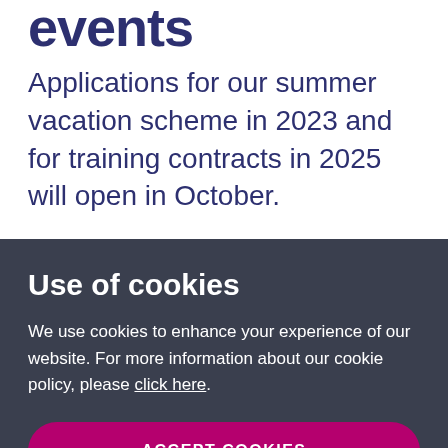events
Applications for our summer vacation scheme in 2023 and for training contracts in 2025 will open in October.
Use of cookies
We use cookies to enhance your experience of our website. For more information about our cookie policy, please click here.
ACCEPT COOKIES
MANAGE PERMISSIONS